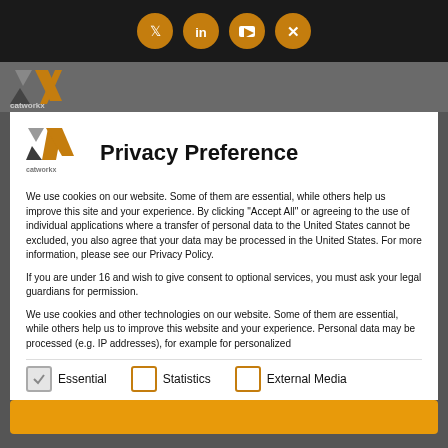[Figure (screenshot): Top black bar with four social media icons (Twitter, LinkedIn, YouTube, XING) in orange circles]
[Figure (logo): catworkx logo - grey/orange X mark with 'catworkx' text below, shown in a grey header bar]
Privacy Preference
We use cookies on our website. Some of them are essential, while others help us improve this site and your experience. By clicking "Accept All" or agreeing to the use of individual applications where a transfer of personal data to the United States cannot be excluded, you also agree that your data may be processed in the United States. For more information, please see our Privacy Policy.
If you are under 16 and wish to give consent to optional services, you must ask your legal guardians for permission.
We use cookies and other technologies on our website. Some of them are essential, while others help us to improve this website and your experience. Personal data may be processed (e.g. IP addresses), for example for personalized
Essential   Statistics   External Media